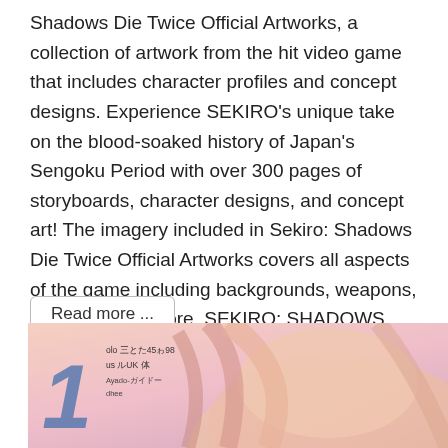Shadows Die Twice Official Artworks, a collection of artwork from the hit video game that includes character profiles and concept designs. Experience SEKIRO's unique take on the blood-soaked history of Japan's Sengoku Period with over 300 pages of storyboards, character designs, and concept art! The imagery included in Sekiro: Shadows Die Twice Official Artworks covers all aspects of the game including backgrounds, weapons, monsters and more. SEKIRO: SHADOWS DIE TWICE is the latest video game created by FromSoftware, the iconic studio responsible for the DARK SOULS series and BLOODBOURNE. It was one of best-selling games of 2019 with over 4 million units sold and won Game of the Year 2019 by GameSpot's The Game Awards. Sekiro:
Read more ...
[Figure (illustration): Book cover image with manga-style character artwork and 'COVER NOT FINAL' red corner banner, with Japanese text on the left side and blue text 'DE' on the right.]